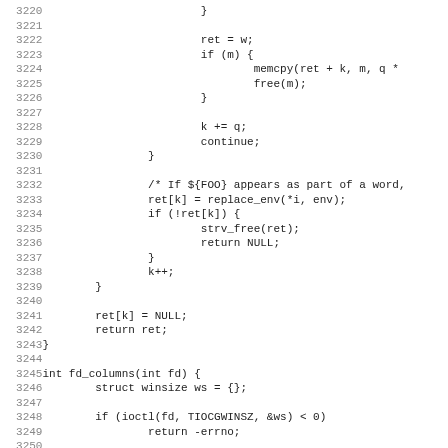[Figure (screenshot): Source code listing showing C code lines 3220-3251, including a loop with ret, memcpy, free, continue, replace_env, strv_free, return NULL, and fd_columns function definition with struct winsize and ioctl call.]